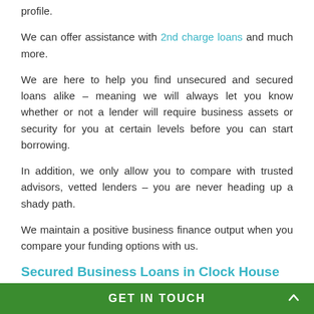profile.
We can offer assistance with 2nd charge loans and much more.
We are here to help you find unsecured and secured loans alike – meaning we will always let you know whether or not a lender will require business assets or security for you at certain levels before you can start borrowing.
In addition, we only allow you to compare with trusted advisors, vetted lenders – you are never heading up a shady path.
We maintain a positive business finance output when you compare your funding options with us.
Secured Business Loans in Clock House
Secured loans will require you to offer up an asset, a property or a form of premises so that collect if you
GET IN TOUCH